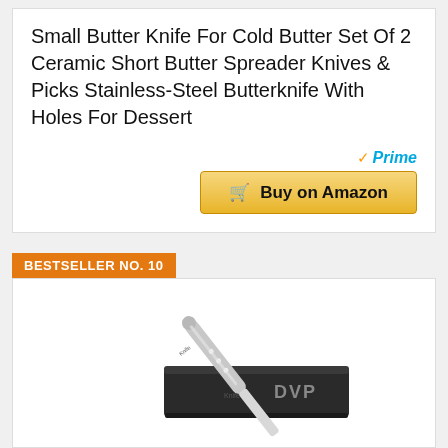Small Butter Knife For Cold Butter Set Of 2 Ceramic Short Butter Spreader Knives & Picks Stainless-Steel Butterknife With Holes For Dessert
[Figure (other): Amazon Prime badge and Buy on Amazon button with shopping cart icon]
BESTSELLER NO. 10
[Figure (photo): Product photo of a silver stainless steel butter knife/spreader with holes, resting on a black DVP branded box/case]